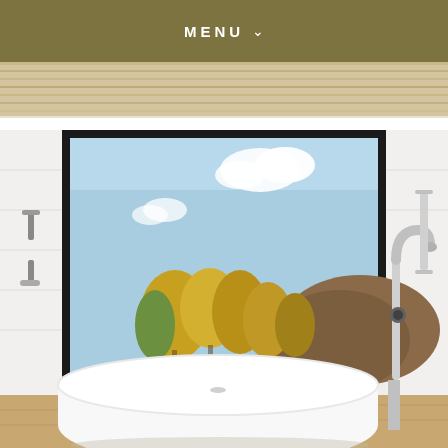MENU
[Figure (photo): Top strip showing a partial view of a room with wood ceiling and tile]
[Figure (photo): Luxury bathroom interior with a freestanding white soaking tub centered in front of a large black-framed picture window overlooking autumn trees and a hillside. A chrome floor-mounted tub filler faucet stands to the right. White tile walls and wood flooring visible.]